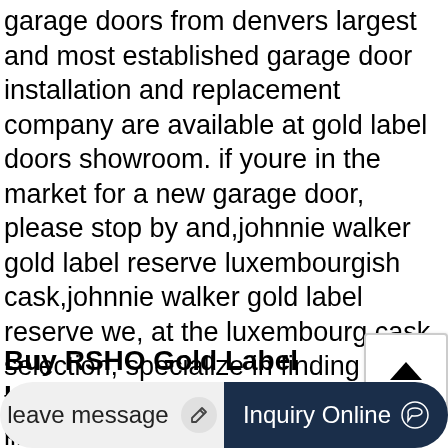garage doors from denvers largest and most established garage door installation and replacement company are available at gold label doors showroom. if youre in the market for a new garage door, please stop by and,johnnie walker gold label reserve luxembourgish cask,johnnie walker gold label reserve we, at the luxembourg cask selection, specialize in finding and trading the most exclusive, unique, limited edition, collectors grade, special, rare and sometimes even strange whisky. we love independent bottlings of single cask and single malt whiskies and we occasionally select some rare exclusive
Buy RSHO Gold Label Hemp Oil 3g 720mg CBD Online
the purest way to include our cbd hemp oil in your daily routine, our real scientific hemp oil gold extracted using supercritical co
[Figure (other): Upload/share button icon showing upward arrow with a line underneath]
leave message
Inquiry Online